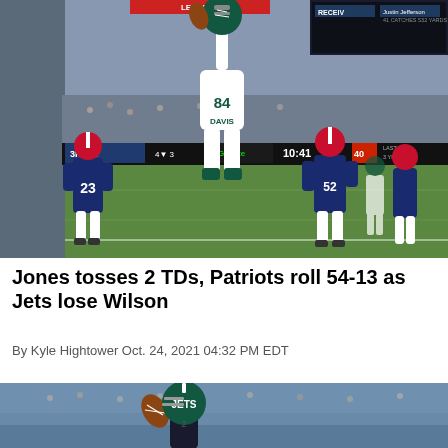[Figure (photo): NFL football game action photo showing a New York Jets receiver (#84 Davis) leaping to catch a pass while New England Patriots defenders (#23 and #52) attempt to defend. Crowd fills the stadium in background. Scoreboard visible showing 3rd quarter, 10:41, with Gillette Stadium branding.]
Jones tosses 2 TDs, Patriots roll 54-13 as Jets lose Wilson
By Kyle Hightower Oct. 24, 2021 04:32 PM EDT
[Figure (photo): Close-up photo of a New York Jets quarterback preparing to throw a football, wearing a green Jets helmet. Crowd visible in background at a stadium.]